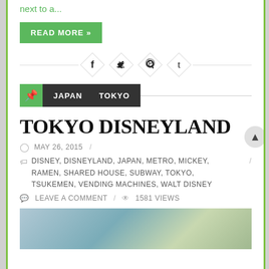next to a...
READ MORE »
[Figure (infographic): Social share icons: Facebook, Twitter, Pinterest, Tumblr in diamond shapes with horizontal divider lines]
JAPAN   TOKYO
TOKYO DISNEYLAND
MAY 26, 2015 /
DISNEY, DISNEYLAND, JAPAN, METRO, MICKEY, RAMEN, SHARED HOUSE, SUBWAY, TOKYO, TSUKEMEN, VENDING MACHINES, WALT DISNEY /
LEAVE A COMMENT / 1581 VIEWS
[Figure (photo): Bottom portion of a photo, partially visible, showing what appears to be a sign or structure with blue and white elements against a background with trees]